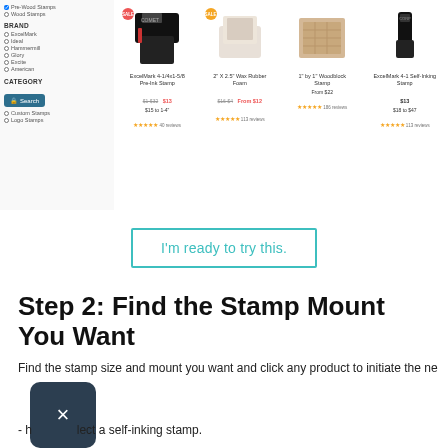[Figure (screenshot): Screenshot of an online stamp store showing a sidebar with brand and category filters, and four product cards: ExcelMark 4-1/4x1-5/8 Pre-Ink (sale), 2 x 2.5 Wax Rubber Foam (sale), 1 by 1 Woodblock Stamp (From $22), ExcelMark 4-1 Self-Inking Stamp ($13). Each product has a price, star rating, and review count.]
[Figure (screenshot): Teal-outlined button with text: I'm ready to try this.]
Step 2: Find the Stamp Mount You Want
Find the stamp size and mount you want and click any product to initiate the ne
[Figure (other): Dark navy rounded square close/dismiss button with white X icon]
- h[...] lect a self-inking stamp.